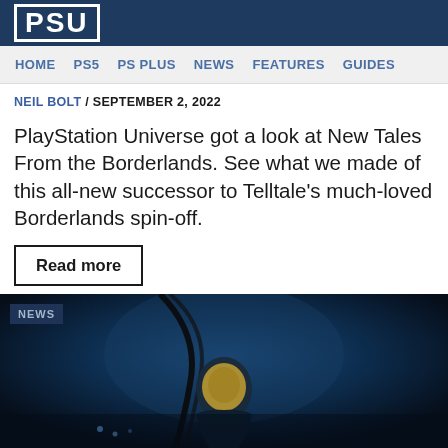PSU
HOME  PS5  PS PLUS  NEWS  FEATURES  GUIDES
NEIL BOLT / SEPTEMBER 2, 2022
PlayStation Universe got a look at New Tales From the Borderlands. See what we made of this all-new successor to Telltale’s much-loved Borderlands spin-off.
Read more
[Figure (photo): Dark cinematic screenshot showing a figure in a helmet/space suit against a dark blue background with lights, with a NEWS badge overlay in the top left corner]